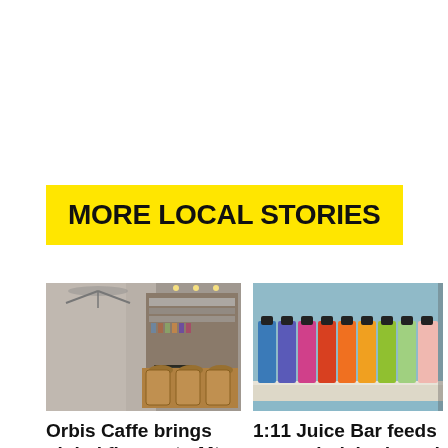MORE LOCAL STORIES
[Figure (photo): Interior of Orbis Caffe showing counter, shelves and lighting]
Orbis Caffe brings global flavors to Mt. Lebanon
Orbis Caffe not only has
[Figure (photo): Row of colorful juice bottles at 1:11 Juice Bar]
1:11 Juice Bar feeds your mind, body and taste buds
1:11 Juice Bar features